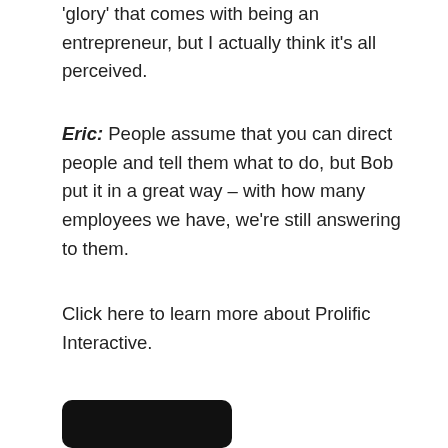'glory' that comes with being an entrepreneur, but I actually think it's all perceived.
Eric: People assume that you can direct people and tell them what to do, but Bob put it in a great way – with how many employees we have, we're still answering to them.
Click here to learn more about Prolific Interactive.
[Figure (other): Black rounded rectangle button at bottom left]